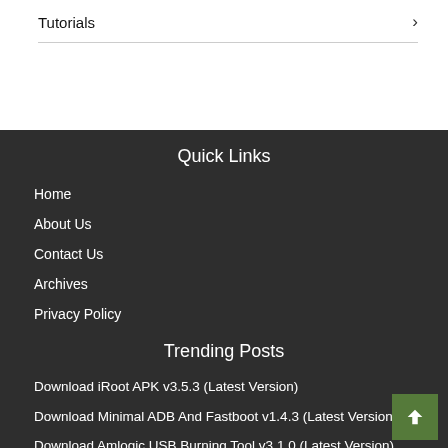Tutorials ›
Quick Links
Home
About Us
Contact Us
Archives
Privacy Policy
Trending Posts
Download iRoot APK v3.5.3 (Latest Version)
Download Minimal ADB And Fastboot v1.4.3 (Latest Version)
Download Amlogic USB Burning Tool v3.1.0 (Latest Version)
Download iRoot For PC v1.8.9.21144 (Latest Version)